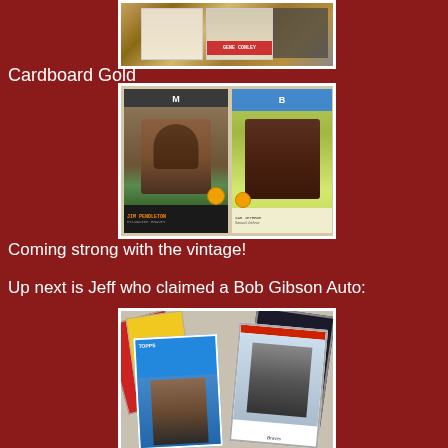[Figure (photo): Vintage baseball cards including a Gene Conley card visible at top of page]
Cardboard Gold
[Figure (photo): Two vintage baseball cards side by side: Jim Pendleton Milwaukee Braves card on left, and another signed card on right]
Coming strong with the vintage!
Up next is Jeff who claimed a Bob Gibson Auto:
[Figure (photo): A spread of baseball cards showing modern era cards including a player in batting stance]